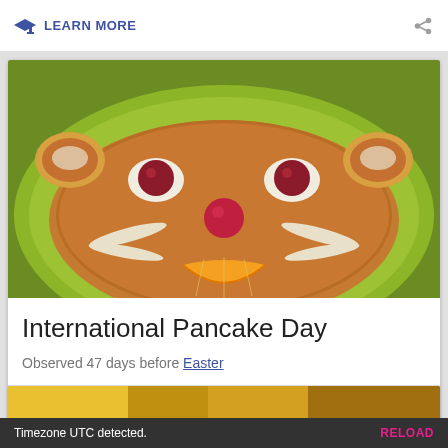LEARN MORE
[Figure (photo): A pancake shaped like a bear or cat face on a lime green plate, decorated with cherries for eyes, a raspberry for a nose, banana slices for whiskers and ears, and an orange slice for a mouth.]
International Pancake Day
Observed 47 days before Easter
LEARN MORE
Timezone UTC detected.
RELOAD